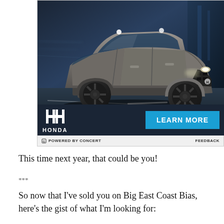[Figure (photo): Honda SUV advertisement showing a gray Honda crossover SUV driving at speed against a blurred dark background, with the Honda logo and a blue 'LEARN MORE' button at the bottom, and a 'POWERED BY CONCERT' bar below.]
This time next year, that could be you!
***
So now that I've sold you on Big East Coast Bias, here's the gist of what I'm looking for: